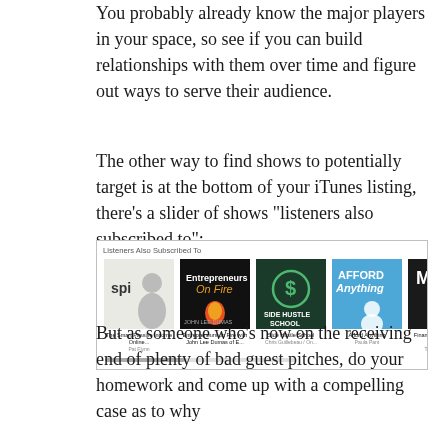You probably already know the major players in your space, so see if you can build relationships with them over time and figure out ways to serve their audience.
The other way to find shows to potentially target is at the bottom of your iTunes listing, there’s a slider of shows “listeners also subscribed to”:
[Figure (screenshot): iTunes screenshot showing 'Listeners Also Subscribed To' section with podcast artwork thumbnails: The Smart Passive Income Online (Pat Flynn), Entrepreneurs on Fire (John Lee Dumas), Side Hustle School, Afford Anything (Paula Pant), Financial Independence Podcast (The Mad Fientist), Radical Personal Finance (Joshua Sheets), The Stacking Benjamins Show]
But as someone who’s now on the receiving end of plenty of bad guest pitches, do your homework and come up with a compelling case as to why